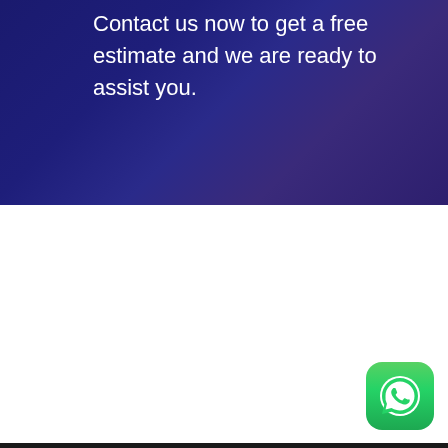Contact us now to get a free estimate and we are ready to assist you.
[Figure (logo): WhatsApp icon button — green rounded square with white phone/chat bubble logo]